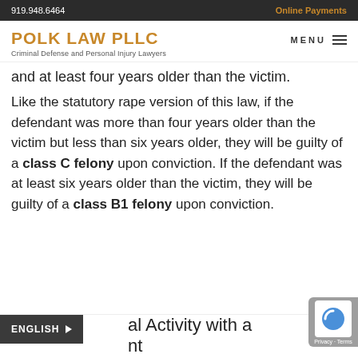919.948.6464 | Online Payments
POLK LAW PLLC | Criminal Defense and Personal Injury Lawyers | MENU
and at least four years older than the victim.
Like the statutory rape version of this law, if the defendant was more than four years older than the victim but less than six years older, they will be guilty of a class C felony upon conviction. If the defendant was at least six years older than the victim, they will be guilty of a class B1 felony upon conviction.
al Activity with a nt